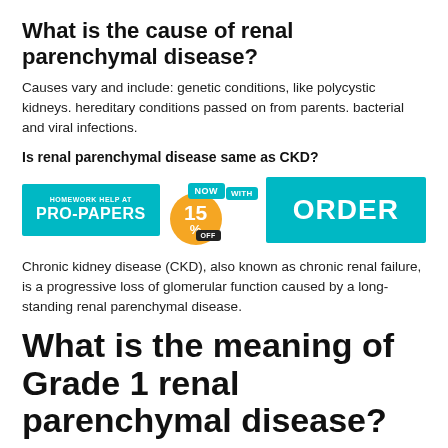What is the cause of renal parenchymal disease?
Causes vary and include: genetic conditions, like polycystic kidneys. hereditary conditions passed on from parents. bacterial and viral infections.
Is renal parenchymal disease same as CKD?
[Figure (infographic): Advertisement banner for Pro-Papers homework help service showing 15% off discount offer and ORDER button]
Chronic kidney disease (CKD), also known as chronic renal failure, is a progressive loss of glomerular function caused by a long-standing renal parenchymal disease.
What is the meaning of Grade 1 renal parenchymal disease?
Renal parenchymal disease refers to damage of the internal kidney tissue. This affects the functioning and urine formation. Grade 1 means that the kidney appears isoechoic with